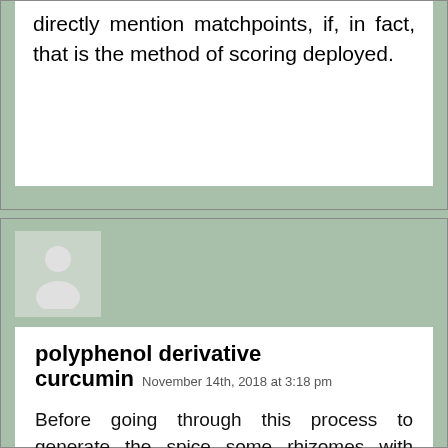directly mention matchpoints, if, in fact, that is the method of scoring deployed.
polyphenol derivative curcumin   November 14th, 2018 at 3:18 pm
Before going through this process to generate the spice some rhizomes with growth buds are re-planted for the next crop. You might be wondering why we even have body hair and possesses related to survival.
The anticancer potential of curcumin is due to being able to suppress